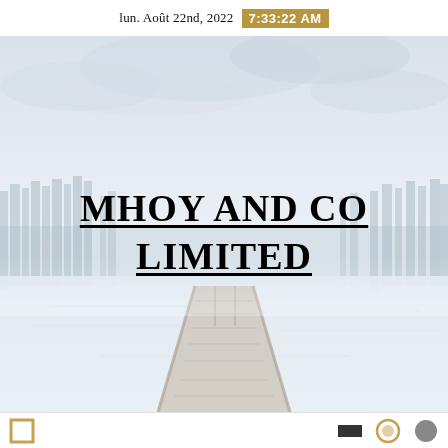lun. Août 22nd, 2022  7:33:22 AM
[Figure (photo): Misty winter lake scene with a wooden dock extending into calm water, forest of pine trees in background, overcast sky — serving as a company cover page background image]
MHOY AND CO LIMITED